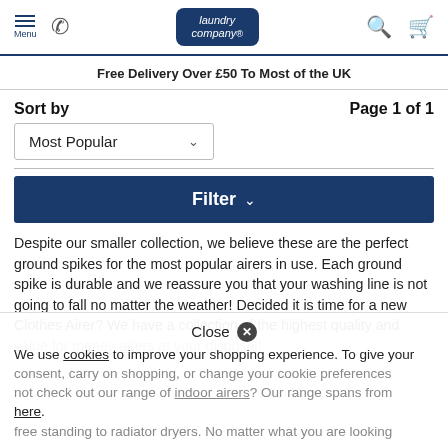Menu | Phone | Laundry Company logo | Search | Cart
Free Delivery Over £50 To Most of the UK
Sort by | Page 1 of 1
Most Popular
Filter
Despite our smaller collection, we believe these are the perfect ground spikes for the most popular airers in use. Each ground spike is durable and we reassure you that your washing line is not going to fall no matter the weather! Decided it is time for a new Clothes Airer? We have a collection of the highest quality and value for money airers at your disposal!
Deciding it is getting too cold and wet for an outdoor airer? Why not check out our range of indoor airers? Our range spans from free standing to radiator dryers. No matter what you are looking
Close
We use cookies to improve your shopping experience. To give your consent, carry on shopping, or change your cookie preferences here.